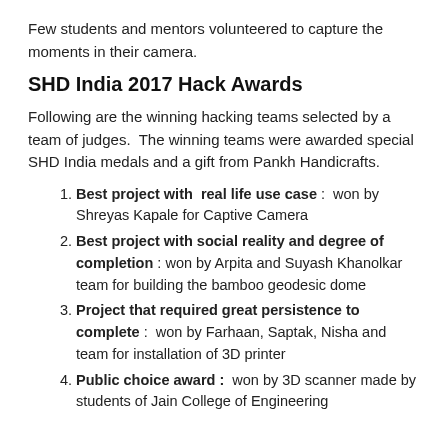Few students and mentors volunteered to capture the moments in their camera.
SHD India 2017 Hack Awards
Following are the winning hacking teams selected by a team of judges.  The winning teams were awarded special SHD India medals and a gift from Pankh Handicrafts.
Best project with  real life use case :  won by Shreyas Kapale for Captive Camera
Best project with social reality and degree of completion : won by Arpita and Suyash Khanolkar team for building the bamboo geodesic dome
Project that required great persistence to complete :  won by Farhaan, Saptak, Nisha and  team for installation of 3D printer
Public choice award :  won by 3D scanner made by students of Jain College of Engineering